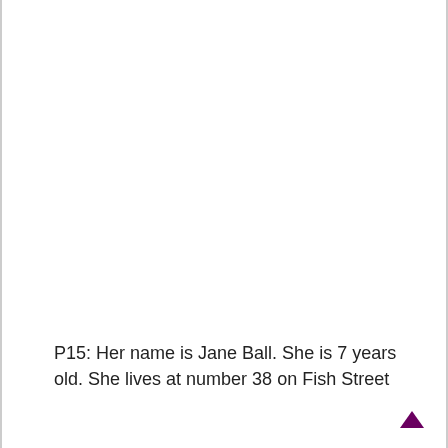P15: Her name is Jane Ball. She is 7 years old. She lives at number 38 on Fish Street